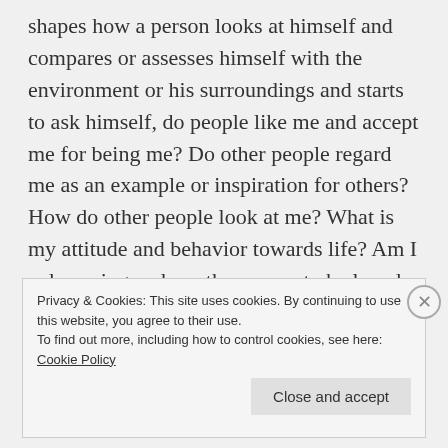shapes how a person looks at himself and compares or assesses himself with the environment or his surroundings and starts to ask himself, do people like me and accept me for being me? Do other people regard me as an example or inspiration for others? How do other people look at me? What is my attitude and behavior towards life? Am I a deserving and worthy person to be loved, appreciated to experience abundance? These are but some of the common social questions that help
Privacy & Cookies: This site uses cookies. By continuing to use this website, you agree to their use.
To find out more, including how to control cookies, see here: Cookie Policy
Close and accept